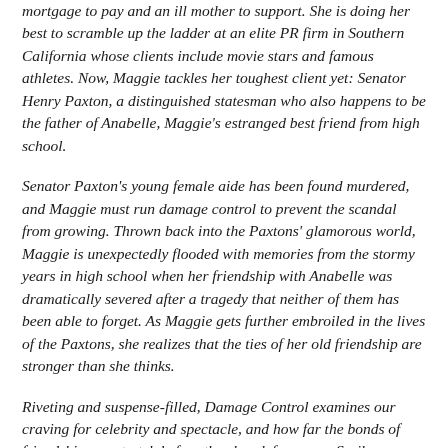mortgage to pay and an ill mother to support. She is doing her best to scramble up the ladder at an elite PR firm in Southern California whose clients include movie stars and famous athletes. Now, Maggie tackles her toughest client yet: Senator Henry Paxton, a distinguished statesman who also happens to be the father of Anabelle, Maggie's estranged best friend from high school.
Senator Paxton's young female aide has been found murdered, and Maggie must run damage control to prevent the scandal from growing. Thrown back into the Paxtons' glamorous world, Maggie is unexpectedly flooded with memories from the stormy years in high school when her friendship with Anabelle was dramatically severed after a tragedy that neither of them has been able to forget. As Maggie gets further embroiled in the lives of the Paxtons, she realizes that the ties of her old friendship are stronger than she thinks.
Riveting and suspense-filled, Damage Control examines our craving for celebrity and spectacle, and how far the bonds of friendship can stretch before they break forever. -- Scribner